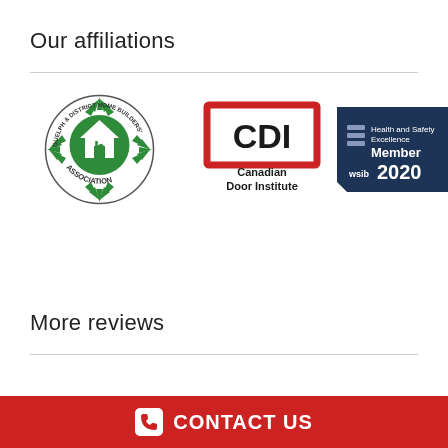Our affiliations
[Figure (logo): Guelph & District Home Builders' Association circular logo with green maple leaf design and house icon, text ASSOCIATION below]
[Figure (logo): Canadian Door Institute logo with red bordered box containing CDI letters, text Canadian Door Institute below]
[Figure (logo): WSIB Health and Safety Excellence Member 2020 dark navy badge with stacked horizontal bar graphic]
More reviews
CONTACT US